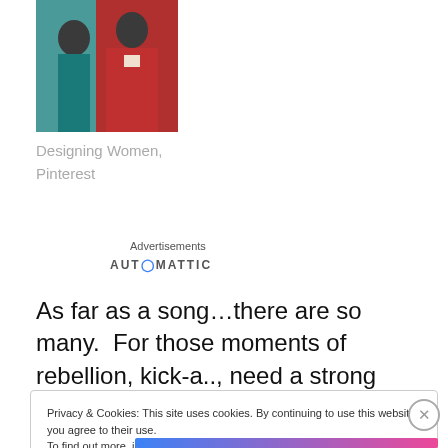[Figure (photo): Photo of two women, one in teal/blue outfit and one in red dress, posed together — appears to be from the TV show Designing Women]
Designing Women, Pinterest
Advertisements
AUTOMATTIC
As far as a song…there are so many.  For those moments of rebellion, kick-a.., need a strong woman example…
Privacy & Cookies: This site uses cookies. By continuing to use this website, you agree to their use.
To find out more, including how to control cookies, see here: Cookie Policy